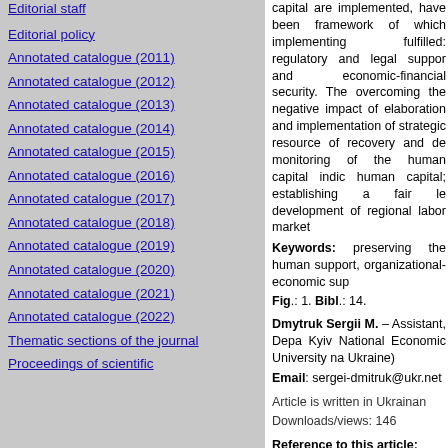Editorial staff
Editorial policy
Annotated catalogue (2011)
Annotated catalogue (2012)
Annotated catalogue (2013)
Annotated catalogue (2014)
Annotated catalogue (2015)
Annotated catalogue (2016)
Annotated catalogue (2017)
Annotated catalogue (2018)
Annotated catalogue (2019)
Annotated catalogue (2020)
Annotated catalogue (2021)
Annotated catalogue (2022)
Thematic sections of the journal
Proceedings of scientific
capital are implemented, have been framework of which implementing fulfilled: regulatory and legal support and economic-financial security. The overcoming the negative impact of elaboration and implementation of strategic resource of recovery and de monitoring of the human capital indic human capital; establishing a fair le development of regional labor market Keywords: preserving the human support, organizational-economic sup Fig.: 1. Bibl.: 14.
Dmytruk Sergii M. – Assistant, Depa Kyiv National Economic University na Ukraine)
Email: sergei-dmitruk@ukr.net
Article is written in Ukrainan
Downloads/views: 146
Reference to this article:
Dmytruk, Sergii M. (2015) "Formatio Capital of Ukraine in Terms of Crisis."
1 | 2 | 3 | 4 | 5 | 6 | 7 | 8 | 9 | 10 | 11 | 25 | 26 | 27 | 28 | 29 | 30 | 31 | 32 |